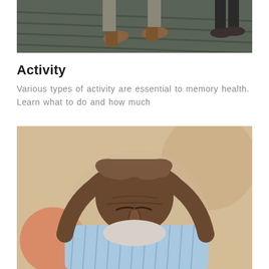[Figure (photo): Cropped photo showing the lower legs and feet of a person walking with a cane on a wooden surface]
Activity
Various types of activity are essential to memory health. Learn what to do and how much
[Figure (photo): Close-up photo of an elderly bald man with a white beard, wearing a light blue striped shirt, holding his head in his hands with eyes closed in distress or pain, with a blurred outdoor background]